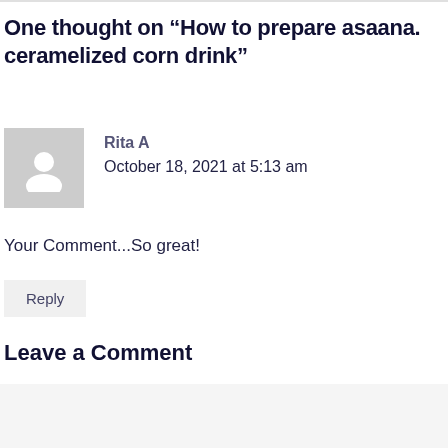One thought on “How to prepare asaana. ceramelized corn drink”
[Figure (illustration): Gray avatar icon of a person silhouette]
Rita A
October 18, 2021 at 5:13 am
Your Comment...So great!
Reply
Leave a Comment
Your Comment...